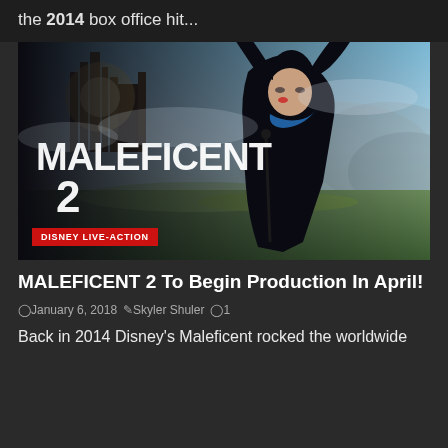the 2014 box office hit...
[Figure (photo): Maleficent 2 movie promotional poster showing a woman in black horned costume and black robes standing in front of a fantasy landscape with a castle, with the text 'MALEFICENT 2' overlaid and a red 'DISNEY LIVE-ACTION' badge in the lower left corner.]
MALEFICENT 2 To Begin Production In April!
January 6, 2018  Skyler Shuler  1
Back in 2014 Disney's Maleficent rocked the worldwide